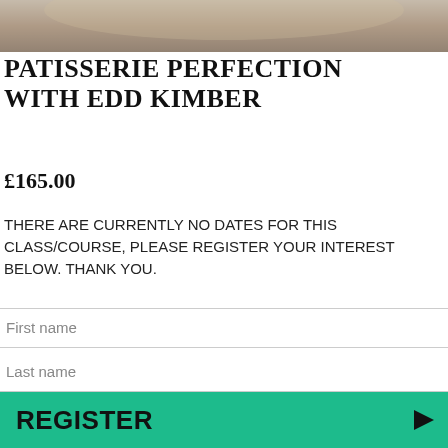[Figure (photo): Partial photo strip of a person, cropped at the top of the page]
PATISSERIE PERFECTION WITH EDD KIMBER
£165.00
THERE ARE CURRENTLY NO DATES FOR THIS CLASS/COURSE, PLEASE REGISTER YOUR INTEREST BELOW. THANK YOU.
First name
Last name
Tel
Email
REGISTER